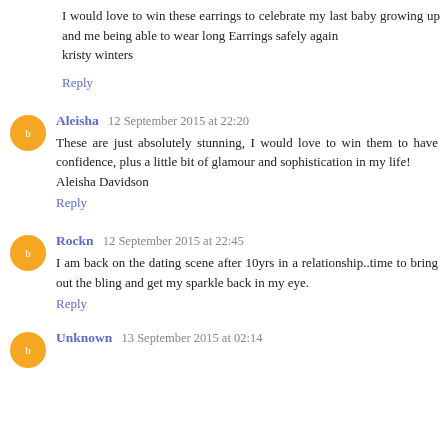I would love to win these earrings to celebrate my last baby growing up and me being able to wear long Earrings safely again
kristy winters
Reply
Aleisha  12 September 2015 at 22:20
These are just absolutely stunning, I would love to win them to have confidence, plus a little bit of glamour and sophistication in my life!
Aleisha Davidson
Reply
Rockn  12 September 2015 at 22:45
I am back on the dating scene after 10yrs in a relationship..time to bring out the bling and get my sparkle back in my eye.
Reply
Unknown  13 September 2015 at 02:14